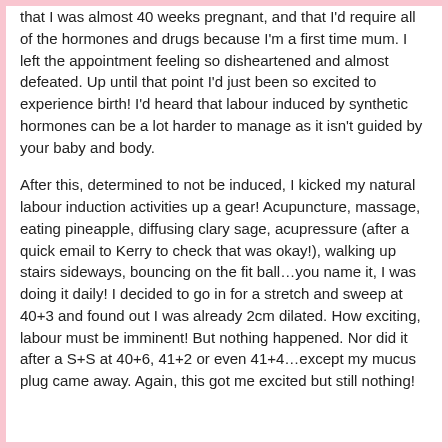that I was almost 40 weeks pregnant, and that I'd require all of the hormones and drugs because I'm a first time mum. I left the appointment feeling so disheartened and almost defeated. Up until that point I'd just been so excited to experience birth! I'd heard that labour induced by synthetic hormones can be a lot harder to manage as it isn't guided by your baby and body.
After this, determined to not be induced, I kicked my natural labour induction activities up a gear! Acupuncture, massage, eating pineapple, diffusing clary sage, acupressure (after a quick email to Kerry to check that was okay!), walking up stairs sideways, bouncing on the fit ball…you name it, I was doing it daily! I decided to go in for a stretch and sweep at 40+3 and found out I was already 2cm dilated. How exciting, labour must be imminent! But nothing happened. Nor did it after a S+S at 40+6, 41+2 or even 41+4…except my mucus plug came away. Again, this got me excited but still nothing!